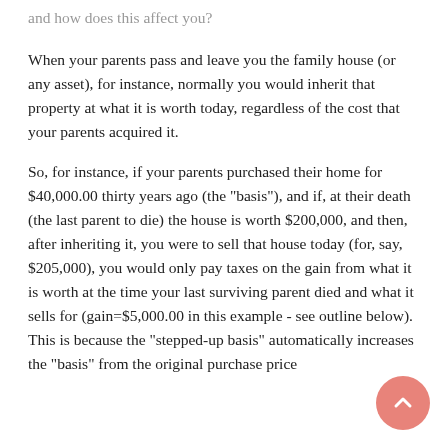and how does this affect you?
When your parents pass and leave you the family house (or any asset), for instance, normally you would inherit that property at what it is worth today, regardless of the cost that your parents acquired it.
So, for instance, if your parents purchased their home for $40,000.00 thirty years ago (the "basis"), and if, at their death (the last parent to die) the house is worth $200,000, and then, after inheriting it, you were to sell that house today (for, say, $205,000), you would only pay taxes on the gain from what it is worth at the time your last surviving parent died and what it sells for (gain=$5,000.00 in this example - see outline below). This is because the "stepped-up basis" automatically increases the "basis" from the original purchase price